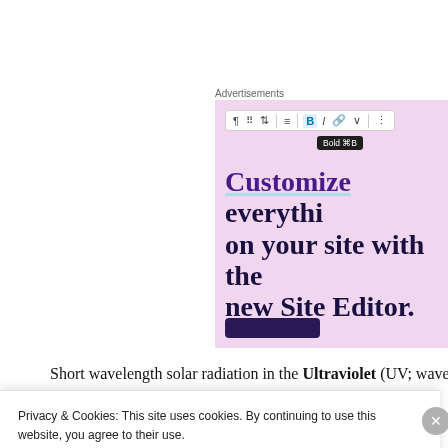Advertisements
[Figure (screenshot): WordPress block editor screenshot showing a toolbar with Bold (⌘B) tooltip active, over a pink/lavender background with large text: 'Customize everything on your site with the new Site Editor.' and a dark purple button below.]
Short wavelength solar radiation in the Ultraviolet (UV; wavele… has enough energy to break apart the ozone molecule into o…
Privacy & Cookies: This site uses cookies. By continuing to use this website, you agree to their use.
To find out more, including how to control cookies, see here: Cookie Policy
Close and accept